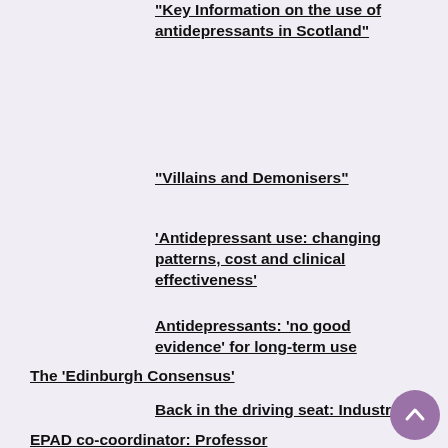“Key Information on the use of antidepressants in Scotland”
“Villains and Demonisers”
‘Antidepressant use: changing patterns, cost and clinical effectiveness’
Antidepressants: ‘no good evidence’ for long-term use
The ‘Edinburgh Consensus’
Back in the driving seat: Industr
EPAD co-coordinator: Professor